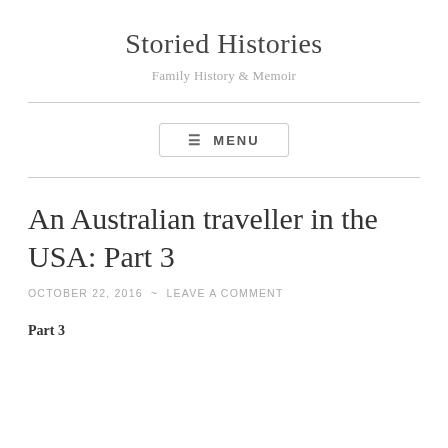Storied Histories
Family History & Memoir
≡ MENU
An Australian traveller in the USA: Part 3
OCTOBER 22, 2016  ~  LEAVE A COMMENT
Part 3